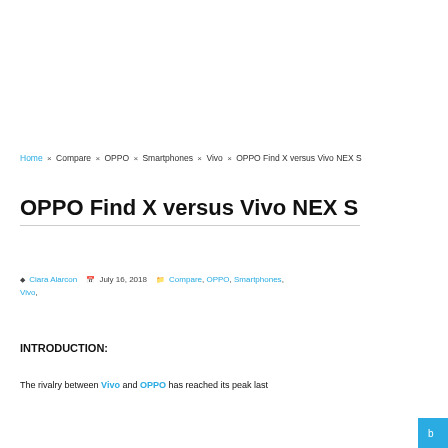Home × Compare × OPPO × Smartphones × Vivo × OPPO Find X versus Vivo NEX S
OPPO Find X versus Vivo NEX S
Ciara Alarcon   July 16, 2018   Compare, OPPO, Smartphones, Vivo,
INTRODUCTION:
The rivalry between Vivo and OPPO has reached its peak last